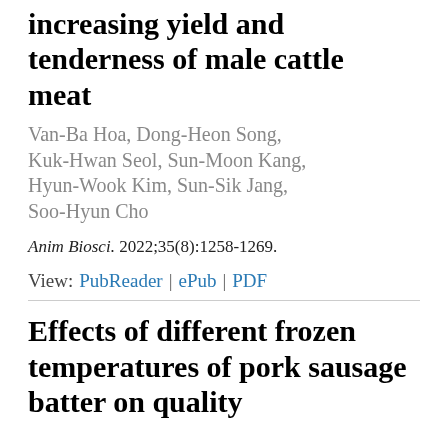increasing yield and tenderness of male cattle meat
Van-Ba Hoa, Dong-Heon Song, Kuk-Hwan Seol, Sun-Moon Kang, Hyun-Wook Kim, Sun-Sik Jang, Soo-Hyun Cho
Anim Biosci. 2022;35(8):1258-1269.
View: PubReader | ePub | PDF
Effects of different frozen temperatures of pork sausage batter on quality